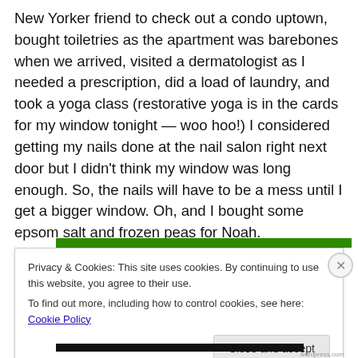New Yorker friend to check out a condo uptown, bought toiletries as the apartment was barebones when we arrived, visited a dermatologist as I needed a prescription, did a load of laundry, and took a yoga class (restorative yoga is in the cards for my window tonight — woo hoo!) I considered getting my nails done at the nail salon right next door but I didn't think my window was long enough. So, the nails will have to be a mess until I get a bigger window. Oh, and I bought some epsom salt and frozen peas for Noah.
Privacy & Cookies: This site uses cookies. By continuing to use this website, you agree to their use.
To find out more, including how to control cookies, see here: Cookie Policy